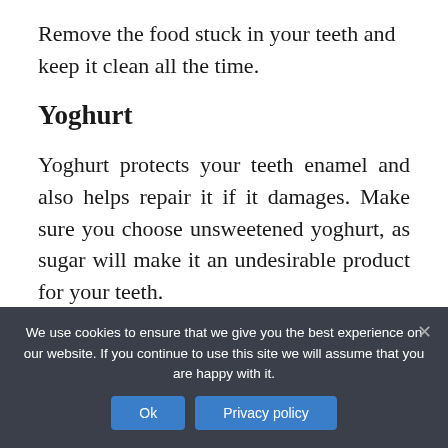Remove the food stuck in your teeth and keep it clean all the time.
Yoghurt
Yoghurt protects your teeth enamel and also helps repair it if it damages. Make sure you choose unsweetened yoghurt, as sugar will make it an undesirable product for your teeth. Di...
We use cookies to ensure that we give you the best experience on our website. If you continue to use this site we will assume that you are happy with it.